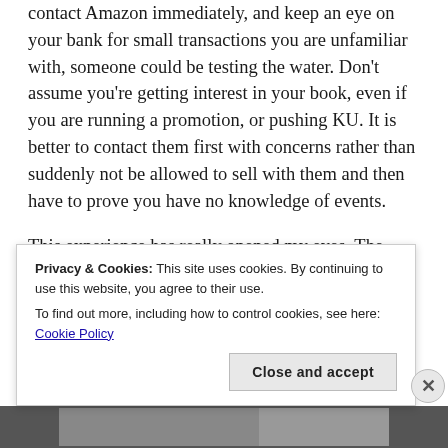contact Amazon immediately, and keep an eye on your bank for small transactions you are unfamiliar with, someone could be testing the water. Don't assume you're getting interest in your book, even if you are running a promotion, or pushing KU. It is better to contact them first with concerns rather than suddenly not be allowed to sell with them and then have to prove you have no knowledge of events.
This experience has really opened my eyes. The
Privacy & Cookies: This site uses cookies. By continuing to use this website, you agree to their use.
To find out more, including how to control cookies, see here: Cookie Policy